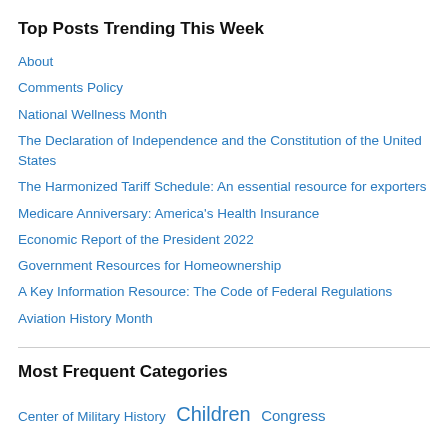Top Posts Trending This Week
About
Comments Policy
National Wellness Month
The Declaration of Independence and the Constitution of the United States
The Harmonized Tariff Schedule: An essential resource for exporters
Medicare Anniversary: America's Health Insurance
Economic Report of the President 2022
Government Resources for Homeownership
A Key Information Resource: The Code of Federal Regulations
Aviation History Month
Most Frequent Categories
Center of Military History  Children  Congress  Consumers Department of Defense